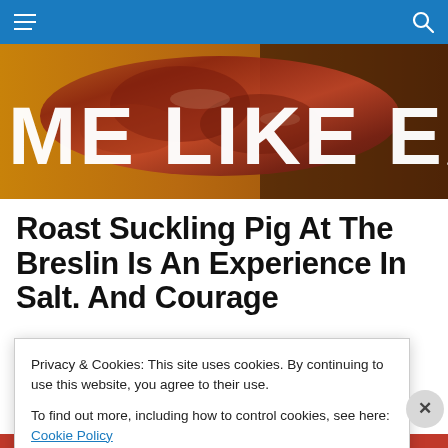ME LIKE EAT — navigation bar
[Figure (photo): Hero banner showing meat/salami on wooden surface with large white text 'ME LIKE EAT' overlaid]
Roast Suckling Pig At The Breslin Is An Experience In Salt. And Courage
Privacy & Cookies: This site uses cookies. By continuing to use this website, you agree to their use.
To find out more, including how to control cookies, see here: Cookie Policy
Advertisements